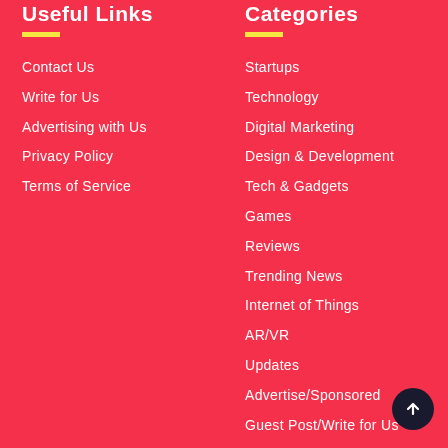Useful Links
Contact Us
Write for Us
Advertising with Us
Privacy Policy
Terms of Service
Categories
Startups
Technology
Digital Marketing
Design & Development
Tech & Gadgets
Games
Reviews
Trending News
Internet of Things
AR/VR
Updates
Advertise/Sponsored
Guest Post/Write for Us